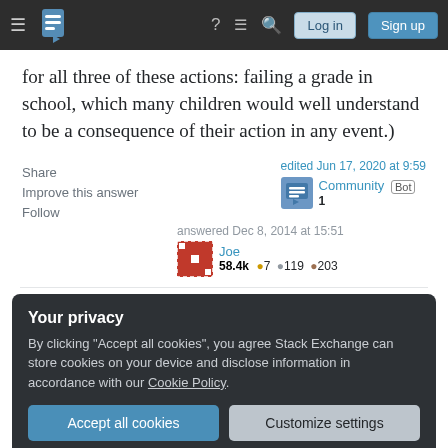Stack Exchange navigation bar with Log in and Sign up buttons
for all three of these actions: failing a grade in school, which many children would well understand to be a consequence of their action in any event.)
Share  Improve this answer  Follow
edited Jun 17, 2020 at 9:59  Community Bot  1
answered Dec 8, 2014 at 15:51  Joe  58.4k  7  119  203
Your privacy
By clicking "Accept all cookies", you agree Stack Exchange can store cookies on your device and disclose information in accordance with our Cookie Policy.
Accept all cookies  Customize settings
doctor's, got an ice. – RedSonja Dec 9, 2014 at 8:18